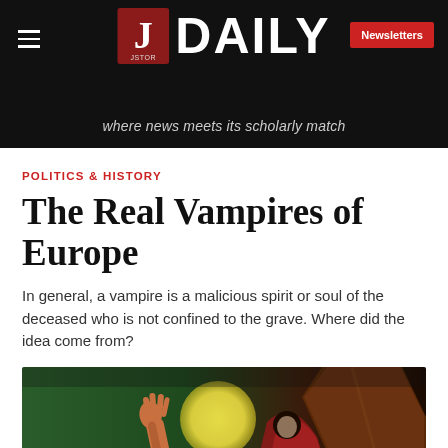JSTOR DAILY — where news meets its scholarly match
POLITICS & HISTORY
The Real Vampires of Europe
In general, a vampire is a malicious spirit or soul of the deceased who is not confined to the grave. Where did the idea come from?
[Figure (illustration): Vintage horror movie illustration showing a hand reaching out of a grave, a full yellow moon, a dark coffin lid, and a figure with a cape against a green and red background.]